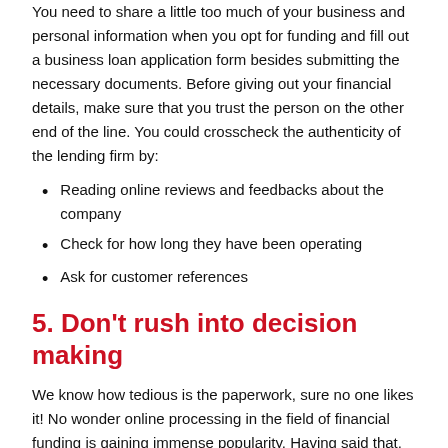You need to share a little too much of your business and personal information when you opt for funding and fill out a business loan application form besides submitting the necessary documents. Before giving out your financial details, make sure that you trust the person on the other end of the line. You could crosscheck the authenticity of the lending firm by:
Reading online reviews and feedbacks about the company
Check for how long they have been operating
Ask for customer references
5. Don't rush into decision making
We know how tedious is the paperwork, sure no one likes it! No wonder online processing in the field of financial funding is gaining immense popularity. Having said that, you still need to carefully fill out the online form while applying Loan for Retailers.  In short, take your time to complete the form correctly, provide all the details required, and submit